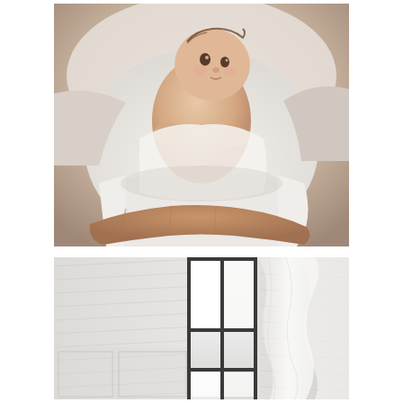[Figure (photo): Close-up photo of a newborn baby wrapped in a white blanket, being held in someone's arms. The baby is looking upward with open eyes. An adult hand is visible supporting the baby from below.]
[Figure (photo): Interior architectural photo of a bright white room with wooden paneled walls and a large black-framed tall window letting in bright light. Sheer white curtains are visible on the right side.]